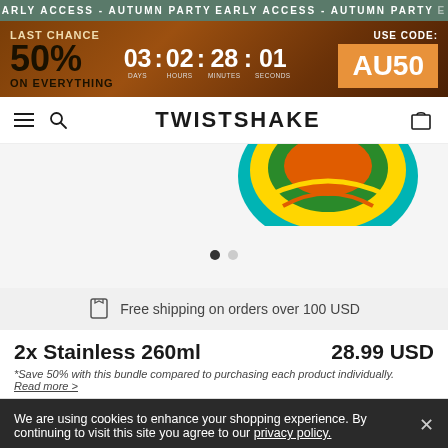EARLY ACCESS - AUTUMN PARTY
LAST CHANCE 50% ON EVERYTHING  03 DAYS : 02 HOURS : 28 MINUTES : 01 SECONDS  USE CODE: AU50
TWISTSHAKE
[Figure (photo): Partial view of a colorful Twistshake product (teal/yellow/green) visible at top of product image area]
Free shipping on orders over 100 USD
2x Stainless 260ml   28.99 USD
*Save 50% with this bundle compared to purchasing each product individually. Read more >
We are using cookies to enhance your shopping experience. By continuing to visit this site you agree to our privacy policy.